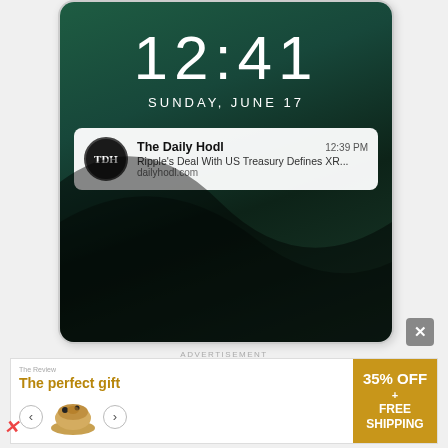[Figure (screenshot): Android phone lock screen showing time 12:41, date Sunday June 17, and a notification from The Daily Hodl at 12:39 PM reading 'Ripple's Deal With US Treasury Defines XR... dailyhodl.com']
Just click the red bell on the bottom-right of your screen.
[Figure (screenshot): Advertisement banner: 'The perfect gift' with product image carousel and '35% OFF + FREE SHIPPING' offer on gold background]